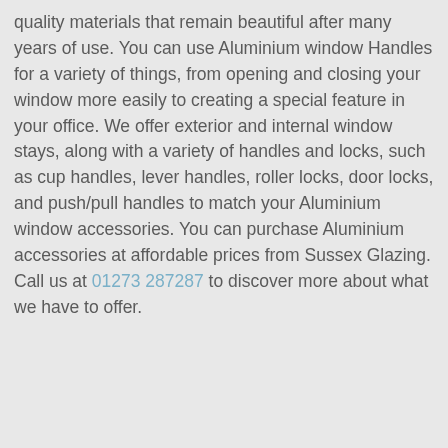quality materials that remain beautiful after many years of use. You can use Aluminium window Handles for a variety of things, from opening and closing your window more easily to creating a special feature in your office. We offer exterior and internal window stays, along with a variety of handles and locks, such as cup handles, lever handles, roller locks, door locks, and push/pull handles to match your Aluminium window accessories. You can purchase Aluminium accessories at affordable prices from Sussex Glazing. Call us at 01273 287287 to discover more about what we have to offer.